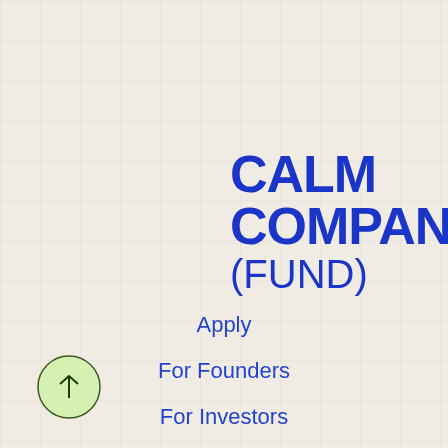[Figure (logo): Calm Company Fund logo with grid background]
CALM COMPANY (FUND)
Apply
For Founders
For Investors
Careers
[Figure (illustration): Green circle with upward arrow scroll button in bottom left corner]